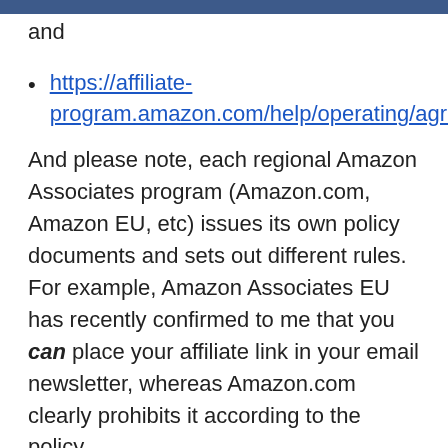and
https://affiliate-program.amazon.com/help/operating/agreement.
And please note, each regional Amazon Associates program (Amazon.com, Amazon EU, etc) issues its own policy documents and sets out different rules. For example, Amazon Associates EU has recently confirmed to me that you can place your affiliate link in your email newsletter, whereas Amazon.com clearly prohibits it according to the policy.
I will try to update this post as often as I can, but if you have spotted errors or have any questions, don't